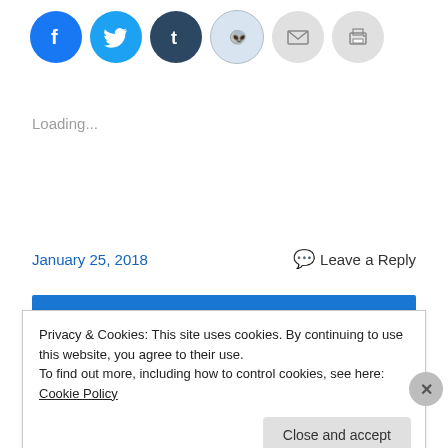[Figure (illustration): Row of six social share icon circles: Facebook (blue), Twitter (light blue), Tumblr (dark blue), Reddit (light gray/blue), Email (gray), Print (gray)]
Loading...
January 25, 2018   💬 Leave a Reply
Older posts
View Full Site
Privacy & Cookies: This site uses cookies. By continuing to use this website, you agree to their use.
To find out more, including how to control cookies, see here: Cookie Policy
Close and accept